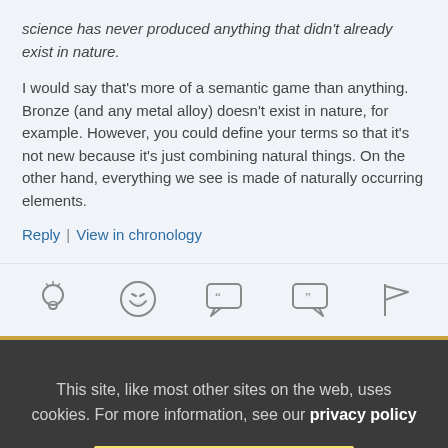science has never produced anything that didn't already exist in nature.
I would say that's more of a semantic game than anything. Bronze (and any metal alloy) doesn't exist in nature, for example. However, you could define your terms so that it's not new because it's just combining natural things. On the other hand, everything we see is made of naturally occurring elements.
Reply | View in chronology
[Figure (infographic): Row of 5 interaction icons: lightbulb, laughing face, speech bubble with open quote, speech bubble with close quote, flag]
This site, like most other sites on the web, uses cookies. For more information, see our privacy policy
GOT IT